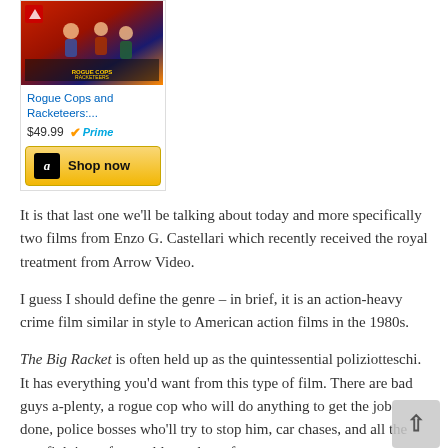[Figure (screenshot): Amazon product ad for 'Rogue Cops and Racketeers:...' priced at $49.99 with Prime badge and Shop now button]
It is that last one we'll be talking about today and more specifically two films from Enzo G. Castellari which recently received the royal treatment from Arrow Video.
I guess I should define the genre – in brief, it is an action-heavy crime film similar in style to American action films in the 1980s.
The Big Racket is often held up as the quintessential poliziotteschi. It has everything you'd want from this type of film. There are bad guys a-plenty, a rogue cop who will do anything to get the job done, police bosses who'll try to stop him, car chases, and all the gun fighting a fan could ever hope for.
Fabio Testi stars as Inspector Nico Palmieri, a cop chasing after a